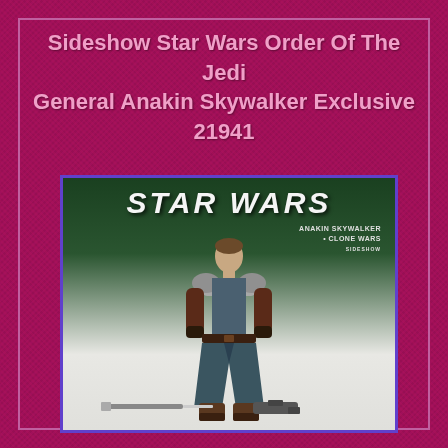Sideshow Star Wars Order Of The Jedi General Anakin Skywalker Exclusive 21941
[Figure (photo): Product photo of Sideshow Collectibles Star Wars Anakin Skywalker (Clone Wars) action figure in Jedi robes, standing in front of a Star Wars branded green background. The figure wears blue-grey Jedi tunic, dark brown cloak, boots and belt. Accessories including a lightsaber and blaster are shown at the feet. The packaging shows 'ANAKIN SKYWALKER • CLONE WARS' text on the right side.]